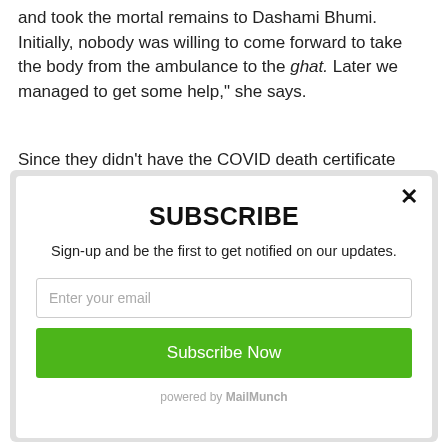and took the mortal remains to Dashami Bhumi. Initially, nobody was willing to come forward to take the body from the ambulance to the ghat. Later we managed to get some help," she says.
Since they didn’t have the COVID death certificate from the
[Figure (screenshot): Subscribe modal popup with close button (X), title SUBSCRIBE, subtitle text 'Sign-up and be the first to get notified on our updates.', email input field, green Subscribe Now button, and 'powered by MailMunch' footer.]
SUBSCRIBE
Sign-up and be the first to get notified on our updates.
Enter your email
Subscribe Now
powered by MailMunch